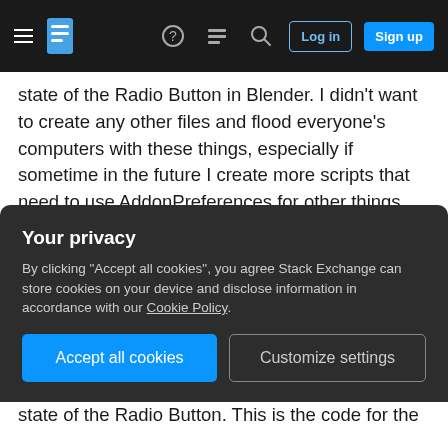Stack Exchange navigation bar with hamburger menu, logo, help, chat, search icons, Log in and Sign up buttons
state of the Radio Button in Blender. I didn't want to create any other files and flood everyone's computers with these things, especially if sometime in the future I create more scripts that need to use AddonPreferences for other things. So, I decided to go with the second possible solution that ended up being the one I'm using.
[Solution]
Since all computers share the same scripts/startup folder (the one fakely located in C:\Program Files...).
[Figure (screenshot): Privacy cookie consent overlay with dark background. Title: Your privacy. Body text: By clicking "Accept all cookies", you agree Stack Exchange can store cookies on your device and disclose information in accordance with our Cookie Policy. Two buttons: Accept all cookies (blue) and Customize settings (dark outlined).]
state of the Radio Button. This is the code for the